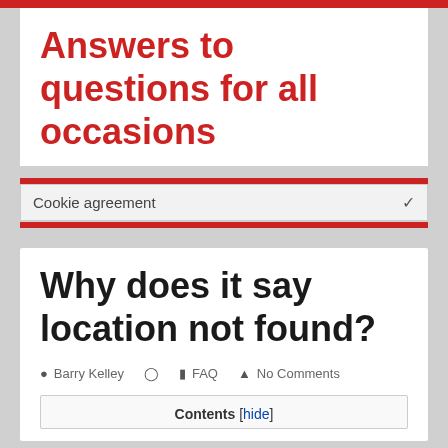Answers to questions for all occasions
Cookie agreement
Why does it say location not found?
Barry Kelley   FAQ   No Comments
Contents [hide]